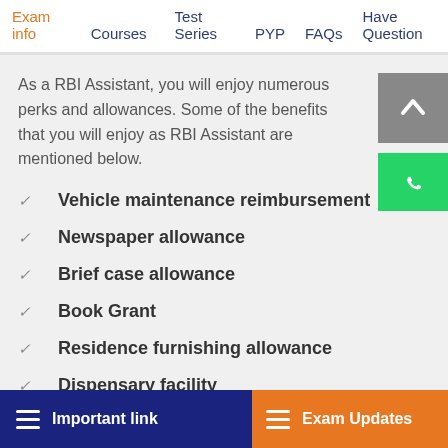Exam info | Courses | Test Series | PYP | FAQs | Have Question
As a RBI Assistant, you will enjoy numerous perks and allowances. Some of the benefits that you will enjoy as RBI Assistant are mentioned below.
Vehicle maintenance reimbursement
Newspaper allowance
Brief case allowance
Book Grant
Residence furnishing allowance
Dispensary facility
Important link | Exam Updates